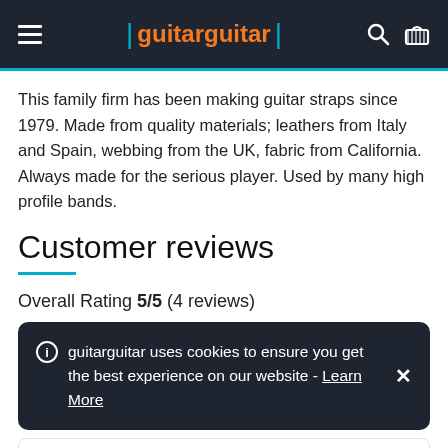guitarguitar
This family firm has been making guitar straps since 1979. Made from quality materials; leathers from Italy and Spain, webbing from the UK, fabric from California. Always made for the serious player. Used by many high profile bands.
Customer reviews
Overall Rating 5/5 (4 reviews)
guitarguitar uses cookies to ensure you get the best experience on our website - Learn More